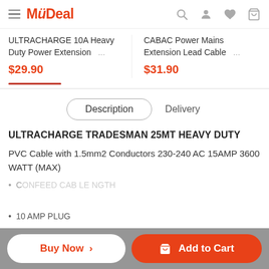MyDeal
ULTRACHARGE 10A Heavy Duty Power Extension ... $29.90
CABAC Power Mains Extension Lead Cable ... $31.90
Description  Delivery
ULTRACHARGE TRADESMAN 25MT HEAVY DUTY
PVC Cable with 1.5mm2 Conductors 230-240 AC 15AMP 3600 WATT (MAX)
10 AMP PLUG